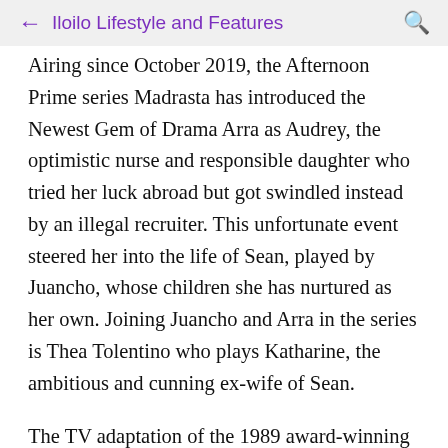← Iloilo Lifestyle and Features 🔍
Airing since October 2019, the Afternoon Prime series Madrasta has introduced the Newest Gem of Drama Arra as Audrey, the optimistic nurse and responsible daughter who tried her luck abroad but got swindled instead by an illegal recruiter. This unfortunate event steered her into the life of Sean, played by Juancho, whose children she has nurtured as her own. Joining Juancho and Arra in the series is Thea Tolentino who plays Katharine, the ambitious and cunning ex-wife of Sean.
The TV adaptation of the 1989 award-winning blockbuster movie by Regal Films, 'Bilangin ang...